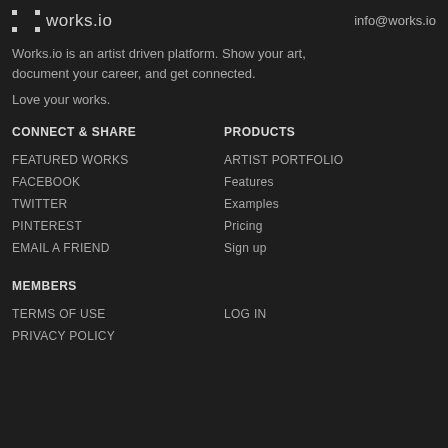works.io  info@works.io
Works.io is an artist driven platform. Show your art, document your career, and get connected.
Love your works.
CONNECT & SHARE
PRODUCTS
FEATURED WORKS
ARTIST PORTFOLIO
FACEBOOK
Features
TWITTER
Examples
PINTEREST
Pricing
EMAIL A FRIEND
Sign up
MEMBERS
TERMS OF USE
LOG IN
PRIVACY POLICY